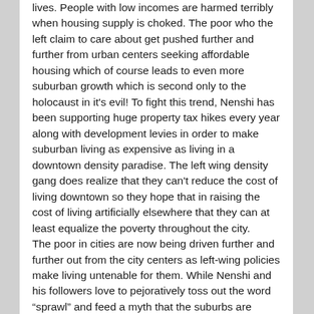lives. People with low incomes are harmed terribly when housing supply is choked. The poor who the left claim to care about get pushed further and further from urban centers seeking affordable housing which of course leads to even more suburban growth which is second only to the holocaust in it's evil! To fight this trend, Nenshi has been supporting huge property tax hikes every year along with development levies in order to make suburban living as expensive as living in a downtown density paradise. The left wing density gang does realize that they can't reduce the cost of living downtown so they hope that in raising the cost of living artificially elsewhere that they can at least equalize the poverty throughout the city.
The poor in cities are now being driven further and further out from the city centers as left-wing policies make living untenable for them. While Nenshi and his followers love to pejoratively toss out the word “sprawl” and feed a myth that the suburbs are subsidized, they are actually feeding outward growth as they raise the cost of living for our most vulnerable. While bedroom communities offer more affordable housing, they often have less employment opportunities nearby so lower income folks either have to